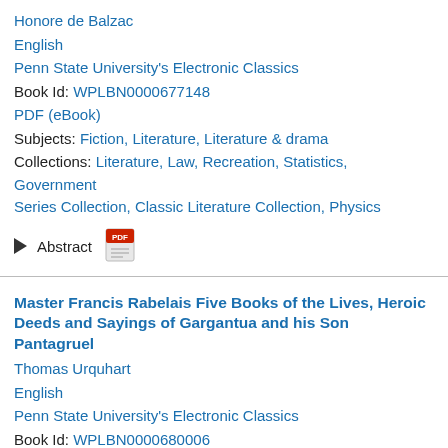Honore de Balzac
English
Penn State University's Electronic Classics
Book Id: WPLBN0000677148
PDF (eBook)
Subjects: Fiction, Literature, Literature & drama
Collections: Literature, Law, Recreation, Statistics, Government Series Collection, Classic Literature Collection, Physics
Abstract
Master Francis Rabelais Five Books of the Lives, Heroic Deeds and Sayings of Gargantua and his Son Pantagruel
Thomas Urquhart
English
Penn State University's Electronic Classics
Book Id: WPLBN0000680006
PDF (eBook)
Subjects: Fiction, Literature and history, Literature & philosophy
Collections: Literature, Law, Social Sciences, Cultural Studies, Electronic Classics Series Collection, Classic Literature Collection